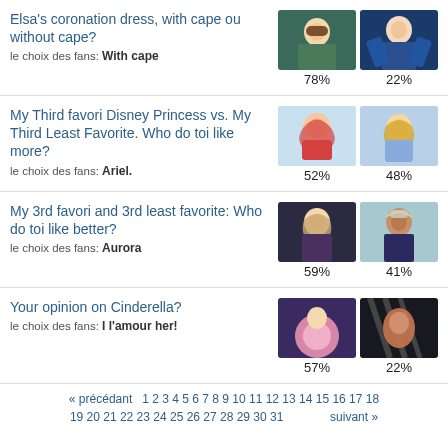Elsa's coronation dress, with cape ou without cape?
le choix des fans: With cape
78%  22%
My Third favori Disney Princess vs. My Third Least Favorite. Who do toi like more?
le choix des fans: Ariel.
52%  48%
My 3rd favori and 3rd least favorite: Who do toi like better?
le choix des fans: Aurora
59%  41%
Your opinion on Cinderella?
le choix des fans: I l'amour her!
57%  22%
« précédant  1 2 3 4 5 6 7 8 9 10 11 12 13 14 15 16 17 18 19 20 21 22 23 24 25 26 27 28 29 30 31  suivant »